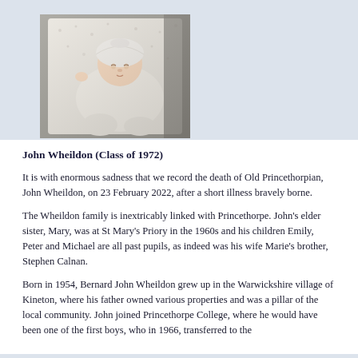[Figure (photo): A baby dressed in white clothing lying in what appears to be a pram or crib]
John Wheildon (Class of 1972)
It is with enormous sadness that we record the death of Old Princethorpian, John Wheildon, on 23 February 2022, after a short illness bravely borne.
The Wheildon family is inextricably linked with Princethorpe. John's elder sister, Mary, was at St Mary's Priory in the 1960s and his children Emily, Peter and Michael are all past pupils, as indeed was his wife Marie's brother, Stephen Calnan.
Born in 1954, Bernard John Wheildon grew up in the Warwickshire village of Kineton, where his father owned various properties and was a pillar of the local community. John joined Princethorpe College, where he would have been one of the first boys, who in 1966, transferred to the